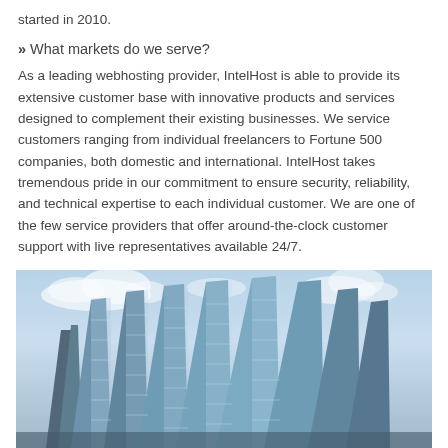started in 2010.
» What markets do we serve?
As a leading webhosting provider, IntelHost is able to provide its extensive customer base with innovative products and services designed to complement their existing businesses. We service customers ranging from individual freelancers to Fortune 500 companies, both domestic and international. IntelHost takes tremendous pride in our commitment to ensure security, reliability, and technical expertise to each individual customer. We are one of the few service providers that offer around-the-clock customer support with live representatives available 24/7.
[Figure (photo): Modern glass office building photographed from below against a partly cloudy blue sky]